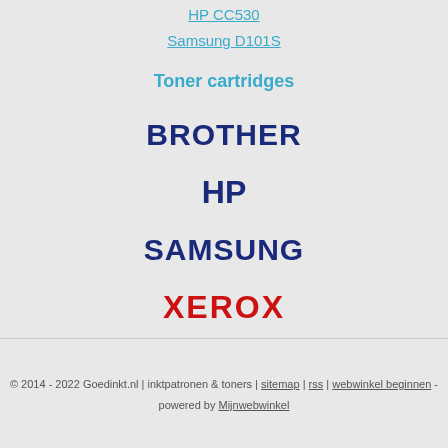HP CC530
Samsung D101S
Toner cartridges
BROTHER
HP
SAMSUNG
XEROX
© 2014 - 2022 Goedinkt.nl | inktpatronen & toners | sitemap | rss | webwinkel beginnen - powered by Mijnwebwinkel